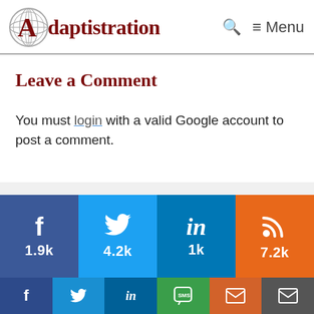Adaptistration — Menu
Leave a Comment
You must login with a valid Google account to post a comment.
[Figure (infographic): Social media share buttons: Facebook 1.9k, Twitter 4.2k, LinkedIn 1k, RSS 7.2k, plus small icon row for Facebook, Twitter, LinkedIn, SMS, Email, Envelope]